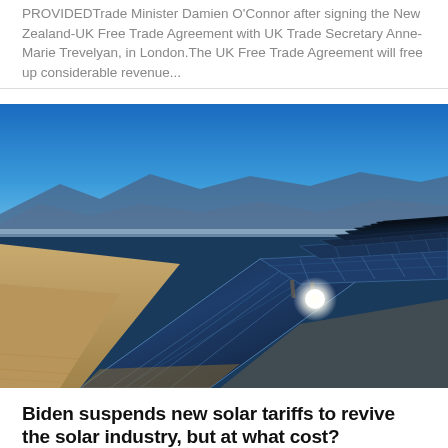PROVIDEDTrade Minister Damien O'Connor after signing the New Zealand-UK Free Trade Agreement with UK Trade Secretary Anne-Marie Trevelyan, in London.The UK Free Trade Agreement will free up considerable revenue...
[Figure (photo): Aerial view of a large solar panel farm in a desert landscape with mountains in the background and clear blue sky. Rows of blue photovoltaic panels extend into the distance on sandy ground. A bright sunlight reflection is visible on one of the panels.]
Biden suspends new solar tariffs to revive the solar industry, but at what cost?